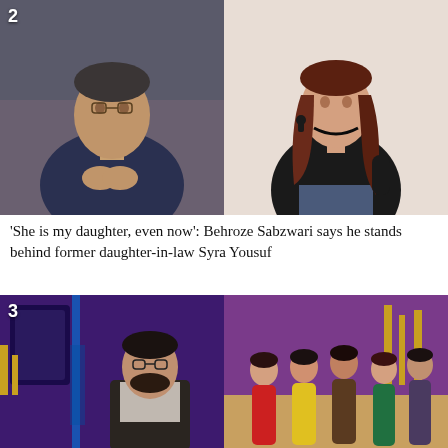[Figure (photo): Two side-by-side photos labeled item 2: left shows an older Pakistani man in dark blue shalwar kameez with hands clasped, speaking; right shows a young woman with long auburn hair wearing a black satin shirt, posing]
'She is my daughter, even now': Behroze Sabzwari says he stands behind former daughter-in-law Syra Yousuf
[Figure (photo): Two side-by-side photos labeled item 3: left shows a man in glasses and dark blazer on a colorful TV show set with purple and gold background; right shows a group of young men and women standing on the same TV show set]